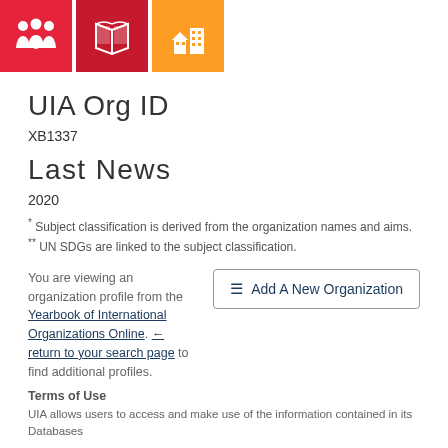[Figure (illustration): Three SDG icons side by side: red icon with people/family symbol, dark red icon with open book symbol, orange icon with city/buildings symbol]
UIA Org ID
XB1337
Last News
2020
* Subject classification is derived from the organization names and aims.
** UN SDGs are linked to the subject classification.
You are viewing an organization profile from the Yearbook of International Organizations Online. ← return to your search page to find additional profiles.
Terms of Use
UIA allows users to access and make use of the information contained in its Databases